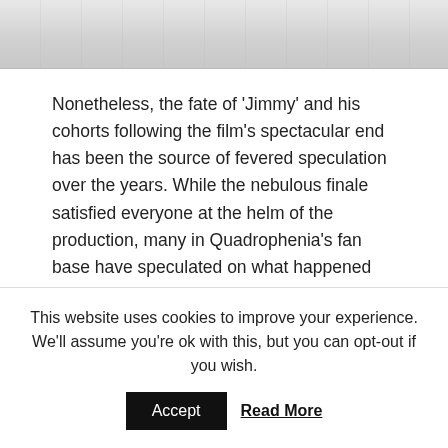[Figure (photo): Top portion of a photograph, showing a light grey/white textured surface, partially cropped at the top of the page.]
Nonetheless, the fate of 'Jimmy' and his cohorts following the film's spectacular end has been the source of fevered speculation over the years. While the nebulous finale satisfied everyone at the helm of the production, many in Quadrophenia's fan base have speculated on what happened after that momentous finale atop Beachy Head.
Pete Townshend had his own say on the possibility of life after 'Jimmy' in his short film White City. Made in
This website uses cookies to improve your experience. We'll assume you're ok with this, but you can opt-out if you wish.
Accept   Read More